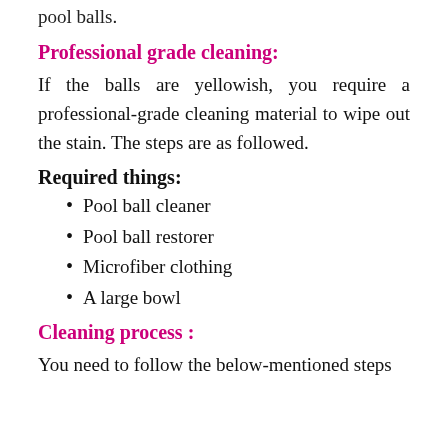pool balls.
Professional grade cleaning:
If the balls are yellowish, you require a professional-grade cleaning material to wipe out the stain. The steps are as followed.
Required things:
Pool ball cleaner
Pool ball restorer
Microfiber clothing
A large bowl
Cleaning  process :
You need to follow the below-mentioned steps